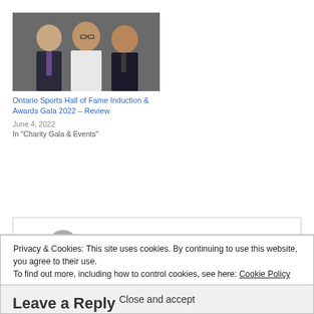[Figure (photo): Three men posing together at an event, wearing formal attire including suits and a white jacket]
Ontario Sports Hall of Fame Induction & Awards Gala 2022 – Review
June 4, 2022
In "Charity Gala & Events"
Privacy & Cookies: This site uses cookies. By continuing to use this website, you agree to their use.
To find out more, including how to control cookies, see here: Cookie Policy
Close and accept
Leave a Reply